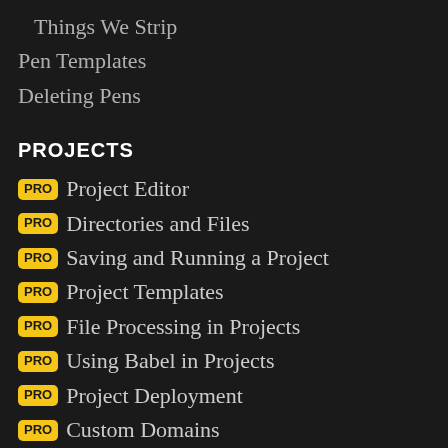Things We Strip
Pen Templates
Deleting Pens
PROJECTS
PRO Project Editor
PRO Directories and Files
PRO Saving and Running a Project
PRO Project Templates
PRO File Processing in Projects
PRO Using Babel in Projects
PRO Project Deployment
PRO Custom Domains
PRO HTTPS
PRO Cancel Project Rendering
PRO Deleting a Project